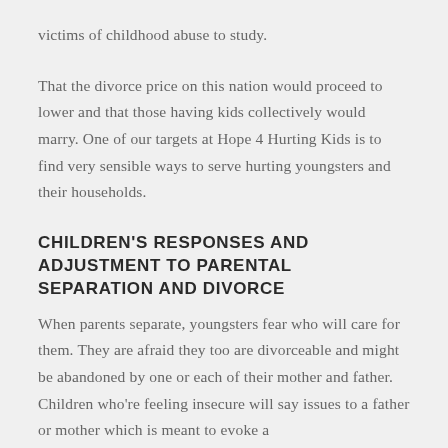victims of childhood abuse to study.
That the divorce price on this nation would proceed to lower and that those having kids collectively would marry. One of our targets at Hope 4 Hurting Kids is to find very sensible ways to serve hurting youngsters and their households.
CHILDREN'S RESPONSES AND ADJUSTMENT TO PARENTAL SEPARATION AND DIVORCE
When parents separate, youngsters fear who will care for them. They are afraid they too are divorceable and might be abandoned by one or each of their mother and father. Children who're feeling insecure will say issues to a father or mother which is meant to evoke a